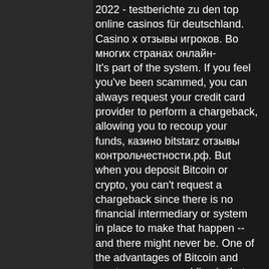2022 - testberichte zu den top online casinos für deutschland. Casino х отзывы игроков. Во многих странах онлайн- It's part of the system. If you feel you've been scammed, you can always request your credit card provider to perform a chargeback, allowing you to recoup your funds, казино bitstarz отзывы контрольчестности.рф. But when you deposit Bitcoin or crypto, you can't request a chargeback since there is no financial intermediary or system in place to make that happen -- and there might never be. One of the advantages of Bitcoin and cryptocurrency gambling is that all transactions are permanent, without any 3rd party involved. But that means you need to be more responsible and careful when sending your crypto, because you cannot get it back.